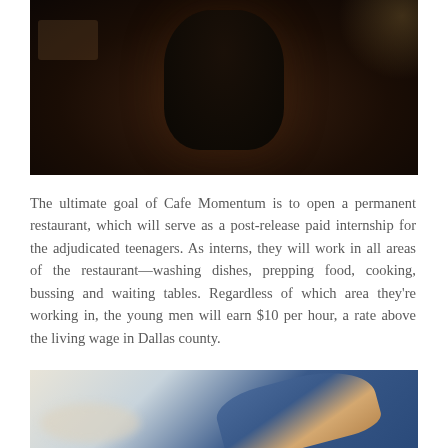[Figure (photo): Dark kitchen scene showing a person in dark clothing leaning over, with shelves and dim warm lighting in the background]
The ultimate goal of Cafe Momentum is to open a permanent restaurant, which will serve as a post-release paid internship for the adjudicated teenagers. As interns, they will work in all areas of the restaurant—washing dishes, prepping food, cooking, bussing and waiting tables. Regardless of which area they're working in, the young men will earn $10 per hour, a rate above the living wage in Dallas county.
[Figure (photo): Close-up of hands setting a table in a restaurant, person wearing a blue shirt, blurred background with white tableware]